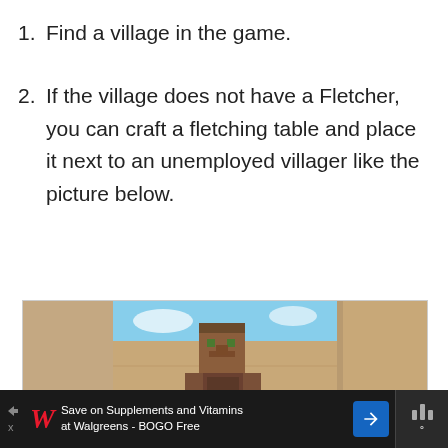1. Find a village in the game.
2. If the village does not have a Fletcher, you can craft a fletching table and place it next to an unemployed villager like the picture below.
[Figure (screenshot): Minecraft screenshot showing a villager standing on a fletching table block (yellow/brown crafting block) on green grass, with a white bed to the left, surrounded by tan sandstone walls and a blue sky above.]
Save on Supplements and Vitamins at Walgreens - BOGO Free